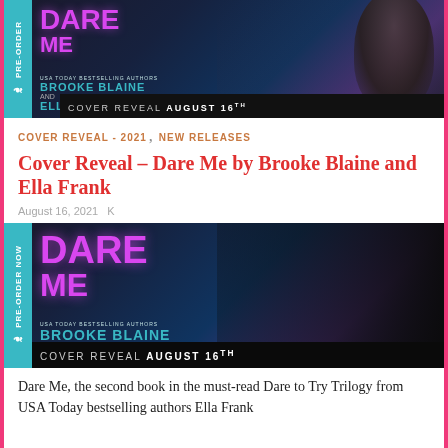[Figure (photo): Book cover banner for 'Dare Me' by Brooke Blaine and Ella Frank – pre-order now, cover reveal August 16th. Dark moody background with man's face, purple/magenta title text, teal author names.]
COVER REVEAL - 2021, NEW RELEASES
Cover Reveal – Dare Me by Brooke Blaine and Ella Frank
August 16, 2021   K
[Figure (photo): Second/larger version of the 'Dare Me' book cover banner by Brooke Blaine and Ella Frank – Pre-Order Now, Cover Reveal August 16th.]
Dare Me, the second book in the must-read Dare to Try Trilogy from USA Today bestselling authors Ella Frank